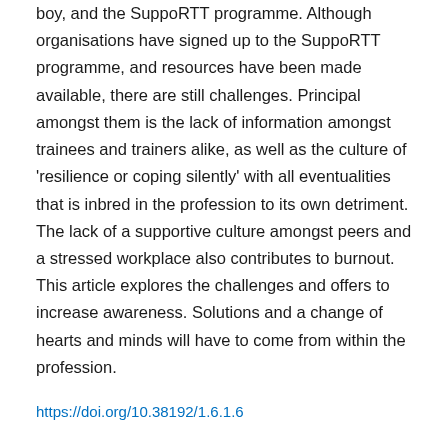boy, and the SuppoRTT programme. Although organisations have signed up to the SuppoRTT programme, and resources have been made available, there are still challenges. Principal amongst them is the lack of information amongst trainees and trainers alike, as well as the culture of 'resilience or coping silently' with all eventualities that is inbred in the profession to its own detriment. The lack of a supportive culture amongst peers and a stressed workplace also contributes to burnout. This article explores the challenges and offers to increase awareness. Solutions and a change of hearts and minds will have to come from within the profession.
https://doi.org/10.38192/1.6.1.6